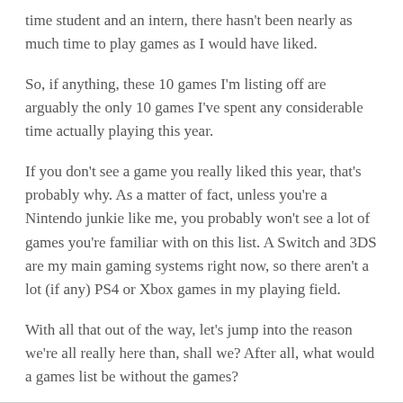time student and an intern, there hasn't been nearly as much time to play games as I would have liked.
So, if anything, these 10 games I'm listing off are arguably the only 10 games I've spent any considerable time actually playing this year.
If you don't see a game you really liked this year, that's probably why. As a matter of fact, unless you're a Nintendo junkie like me, you probably won't see a lot of games you're familiar with on this list. A Switch and 3DS are my main gaming systems right now, so there aren't a lot (if any) PS4 or Xbox games in my playing field.
With all that out of the way, let's jump into the reason we're all really here than, shall we? After all, what would a games list be without the games?